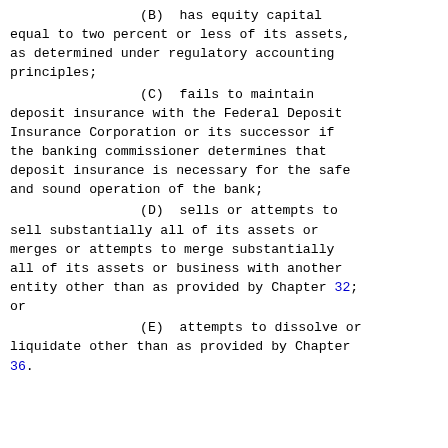(B)  has equity capital equal to two percent or less of its assets, as determined under regulatory accounting principles;
(C)  fails to maintain deposit insurance with the Federal Deposit Insurance Corporation or its successor if the banking commissioner determines that deposit insurance is necessary for the safe and sound operation of the bank;
(D)  sells or attempts to sell substantially all of its assets or merges or attempts to merge substantially all of its assets or business with another entity other than as provided by Chapter 32; or
(E)  attempts to dissolve or liquidate other than as provided by Chapter 36.